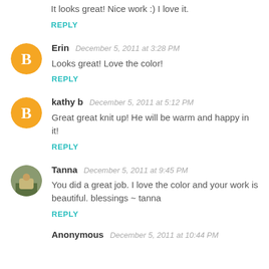It looks great! Nice work :) I love it.
REPLY
Erin  December 5, 2011 at 3:28 PM
Looks great! Love the color!
REPLY
kathy b  December 5, 2011 at 5:12 PM
Great great knit up! He will be warm and happy in it!
REPLY
Tanna  December 5, 2011 at 9:45 PM
You did a great job. I love the color and your work is beautiful. blessings ~ tanna
REPLY
Anonymous  December 5, 2011 at 10:44 PM